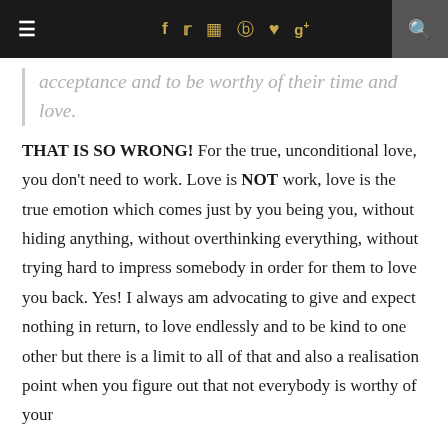≡  f  t  ☷  ⊕  ♥  g+  🔍
acceptance and to be worthy of their time and love.
THAT IS SO WRONG! For the true, unconditional love, you don't need to work. Love is NOT work, love is the true emotion which comes just by you being you, without hiding anything, without overthinking everything, without trying hard to impress somebody in order for them to love you back. Yes! I always am advocating to give and expect nothing in return, to love endlessly and to be kind to one other but there is a limit to all of that and also a realisation point when you figure out that not everybody is worthy of your